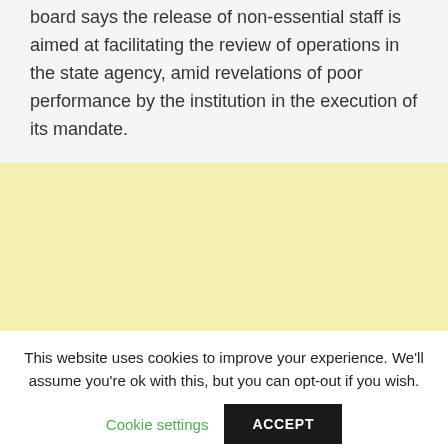board says the release of non-essential staff is aimed at facilitating the review of operations in the state agency, amid revelations of poor performance by the institution in the execution of its mandate.
[Figure (other): Advertisement placeholder area with pale yellow background]
This website uses cookies to improve your experience. We'll assume you're ok with this, but you can opt-out if you wish.
Cookie settings  ACCEPT